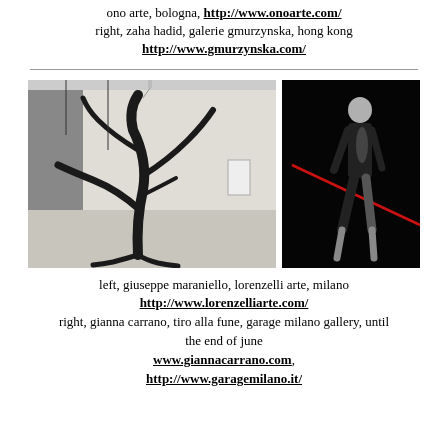ono arte, bologna, http://www.onoarte.com/
right, zaha hadid, galerie gmurzynska, hong kong
http://www.gmurzynska.com/
[Figure (photo): Left: sculpture installation in white gallery space — dark twisted metallic organic form with branching arms. Right: dark background with figure in black clothing, a red diagonal line across the image.]
left, giuseppe maraniello, lorenzelli arte, milano
http://www.lorenzelliarte.com/
right, gianna carrano, tiro alla fune, garage milano gallery, until the end of june
www.giannacarrano.com,
http://www.garagemilano.it/